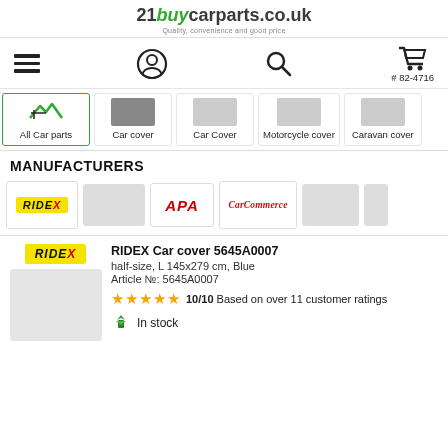[Figure (logo): 21buycarparts.co.uk logo with tagline 'Quality, convenience and good price']
[Figure (screenshot): Navigation icon bar with hamburger menu, user account icon, search icon, and shopping cart with # 82-4716]
[Figure (screenshot): Category row: All Car parts (selected), Car cover, Car Cover, Motorcycle cover, Caravan cover]
MANUFACTURERS
[Figure (screenshot): Brand/manufacturer row: RIDEX logo (yellow bg), grey placeholder, APA logo (red), CarCommerce logo (red script), grey placeholder, partial grey]
RIDEX Car cover 5645A0007
half-size, L 145x279 cm, Blue
Article №: 5645A0007
★★★★★ 10/10 Based on over 11 customer ratings
📦 In stock